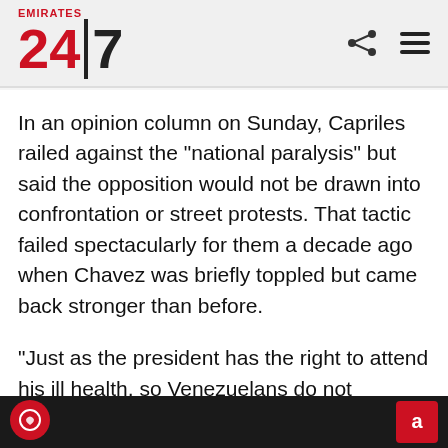Emirates 24|7
In an opinion column on Sunday, Capriles railed against the "national paralysis" but said the opposition would not be drawn into confrontation or street protests. That tactic failed spectacularly for them a decade ago when Chavez was briefly toppled but came back stronger than before.
"Just as the president has the right to attend his ill health, so Venezuelans do not deserve urgent problems to be put on hold," Capriles said. "We are not going to play the game of calling people onto the street to create a confrontation that will benefit th...